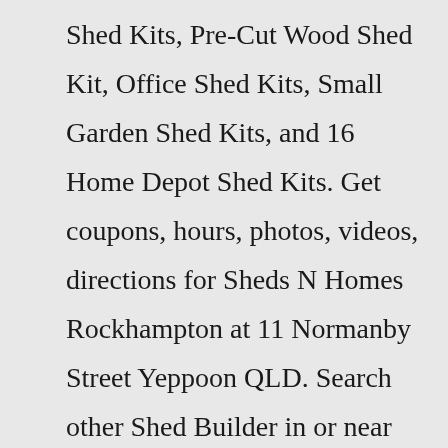Shed Kits, Pre-Cut Wood Shed Kit, Office Shed Kits, Small Garden Shed Kits, and 16 Home Depot Shed Kits. Get coupons, hours, photos, videos, directions for Sheds N Homes Rockhampton at 11 Normanby Street Yeppoon QLD. Search other Shed Builder in or near Yeppoon QLD. Residential and Commercial Sheds Here at Apex Sheds and Cabins we build sheds of all sizes from all shed distributors. Simply